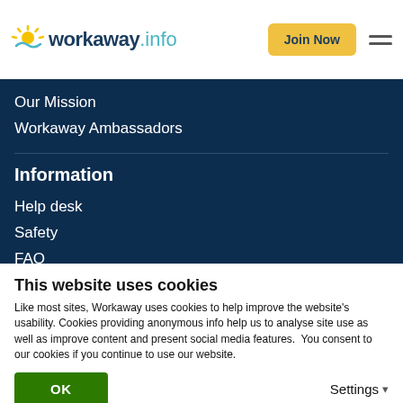workaway.info — Join Now
Our Mission
Workaway Ambassadors
Information
Help desk
Safety
FAQ
Insurance
Terms and conditions
Data and privacy policy
This website uses cookies
Like most sites, Workaway uses cookies to help improve the website's usability. Cookies providing anonymous info help us to analyse site use as well as improve content and present social media features.  You consent to our cookies if you continue to use our website.
OK    Settings